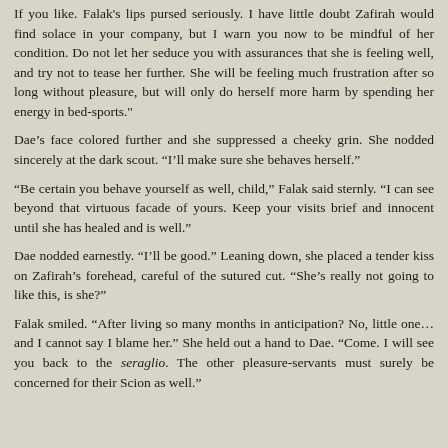If you like. Falak's lips pursed seriously. I have little doubt Zafirah would find solace in your company, but I warn you now to be mindful of her condition. Do not let her seduce you with assurances that she is feeling well, and try not to tease her further. She will be feeling much frustration after so long without pleasure, but will only do herself more harm by spending her energy in bed-sports."
Dae’s face colored further and she suppressed a cheeky grin. She nodded sincerely at the dark scout. "I’ll make sure she behaves herself."
"Be certain you behave yourself as well, child," Falak said sternly. "I can see beyond that virtuous facade of yours. Keep your visits brief and innocent until she has healed and is well."
Dae nodded earnestly. "I’ll be good." Leaning down, she placed a tender kiss on Zafirah’s forehead, careful of the sutured cut. "She’s really not going to like this, is she?"
Falak smiled. "After living so many months in anticipation? No, little one…and I cannot say I blame her." She held out a hand to Dae. "Come. I will see you back to the seraglio. The other pleasure-servants must surely be concerned for their Scion as well."